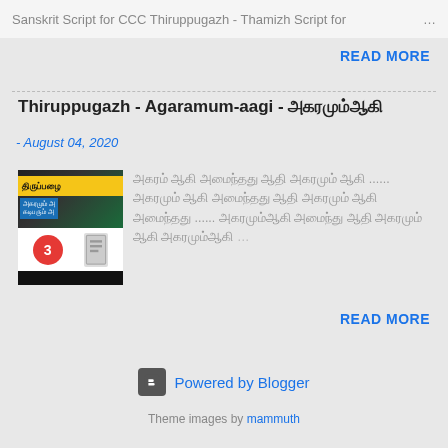Sanskrit Script for CCC Thiruppugazh - Thamizh Script for ...
READ MORE
Thiruppugazh - Agaramum-aagi - அகரமும்ஆகி
- August 04, 2020
[Figure (photo): Thumbnail image for Thiruppugazh blog post showing yellow banner, Tamil text in blue box, red circle with number 3, and black bars]
அகரம் ஆகி அமைந்தது ஆதி அகரமும் ஆகி ...... அகரமும் ஆகி அமைந்தது ஆதி அகரமும் ஆகி அமைந்தது ...... அகரமும்ஆகி அமைந்து ஆதி அகரமும் ஆகி அகரமும்ஆகி ...
READ MORE
Powered by Blogger
Theme images by mammuth